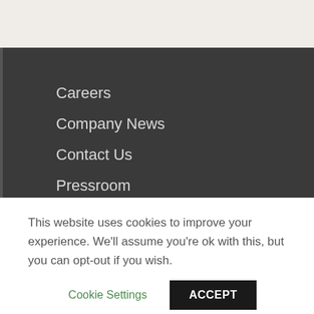Careers
Company News
Contact Us
Pressroom
[Figure (illustration): Social media icons: Facebook, Twitter, YouTube, Instagram, LinkedIn in white on dark background]
[Figure (logo): INKinc logo with INK in red and inc in white]
This website uses cookies to improve your experience. We'll assume you're ok with this, but you can opt-out if you wish.
Cookie Settings
ACCEPT